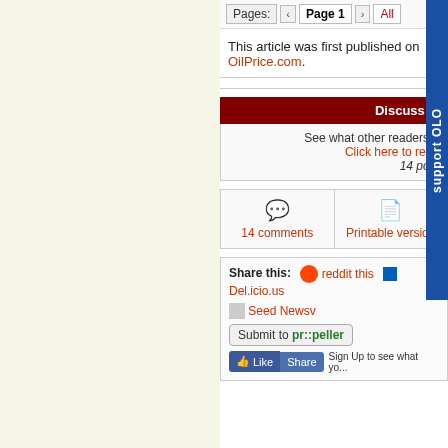Pages: ‹ Page 1 › All
This article was first published on OilPrice.com.
Discuss in
See what other readers a... Click here to read... 14 post...
14 comments
Printable version
Share this: reddit this  Del.icio.us  seed newsvine Seed Newsv... Submit to pr::peller  Like Share Sign Up to see what yo...